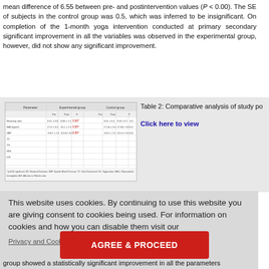mean difference of 6.55 between pre- and postintervention values (P < 0.00). The SE of subjects in the control group was 0.5, which was inferred to be insignificant. On completion of the 1-month yoga intervention conducted at primary secondary significant improvement in all the variables was observed in the experimental group, however, did not show any significant improvement.
[Figure (table-as-image): Thumbnail image of Table 2 showing comparative analysis data with multiple rows and columns]
Table 2: Comparative analysis of study po
Click here to view
This website uses cookies. By continuing to use this website you are giving consent to cookies being used. For information on cookies and how you can disable them visit our
Privacy and Cookie Policy.
AGREE & PROCEED
on functional NHI. Analysis a system o
up showed a cm, PANAS a interventio
group showed a statistically significant improvement in all the parameters